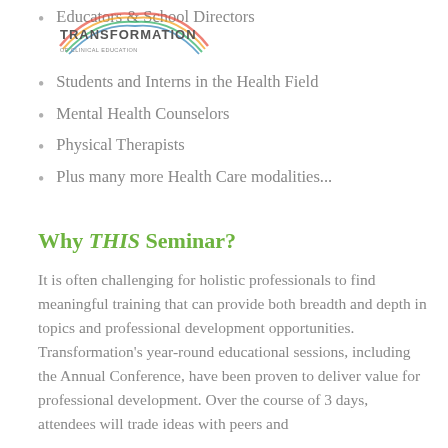[Figure (logo): Transformation of Clinical Education logo with rainbow arc]
Educators & School Directors
Students and Interns in the Health Field
Mental Health Counselors
Physical Therapists
Plus many more Health Care modalities...
Why THIS Seminar?
It is often challenging for holistic professionals to find meaningful training that can provide both breadth and depth in topics and professional development opportunities. Transformation's year-round educational sessions, including the Annual Conference, have been proven to deliver value for professional development. Over the course of 3 days, attendees will trade ideas with peers and